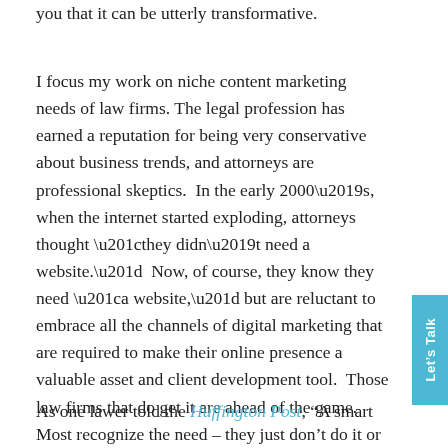you that it can be utterly transformative.
I focus my work on niche content marketing needs of law firms. The legal profession has earned a reputation for being very conservative about business trends, and attorneys are professional skeptics.  In the early 2000’s, when the internet started exploding, attorneys thought “they didn’t need a website.”  Now, of course, they know they need “a website,” but are reluctant to embrace all the channels of digital marketing that are required to make their online presence a valuable asset and client development tool.  Those law firms that do get it are ahead of the game.  Most recognize the need – they just don’t do it or take the time to do it.
As one lawer told the Huffington Post, “A smart